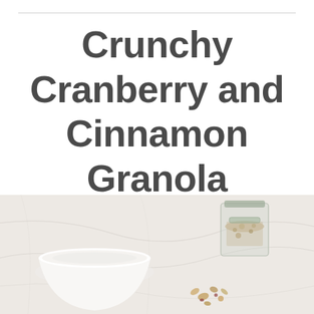Crunchy Cranberry and Cinnamon Granola
[Figure (photo): Photo of a white bowl and a glass jar with granola on a marble surface, with granola pieces scattered nearby]